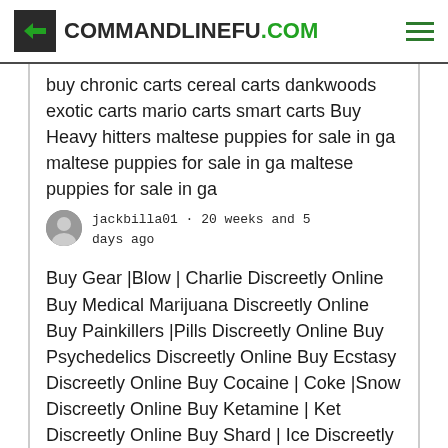COMMANDLINEFU.COM
buy chronic carts cereal carts dankwoods exotic carts mario carts smart carts Buy Heavy hitters maltese puppies for sale in ga maltese puppies for sale in ga maltese puppies for sale in ga
jackbilla01 · 20 weeks and 5 days ago
Buy Gear |Blow | Charlie Discreetly Online Buy Medical Marijuana Discreetly Online Buy Painkillers |Pills Discreetly Online Buy Psychedelics Discreetly Online Buy Ecstasy Discreetly Online Buy Cocaine | Coke |Snow Discreetly Online Buy Ketamine | Ket Discreetly Online Buy Shard | Ice Discreetly Online Buy Ketamine | Ket Discreetly Online Buy Heroin | H Discreetly Online Buy Girl Scout Cookies Strain Discreetly Online Buy OG Kush Strain Discreetly Online Buy Sour Diesel Strains Discreetly Online Buy Gelato strain A+ Discreetly Online Buy Gorilla Glue